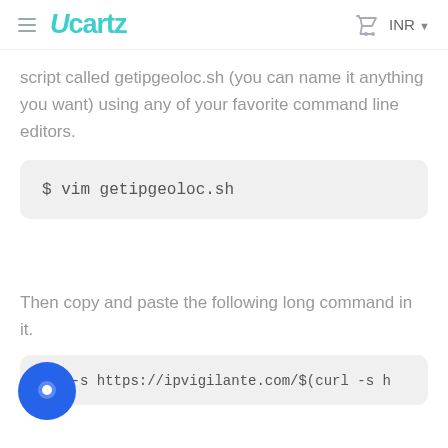Ucartz — INR
script called getipgeoloc.sh (you can name it anything you want) using any of your favorite command line editors.
Then copy and paste the following long command in it.